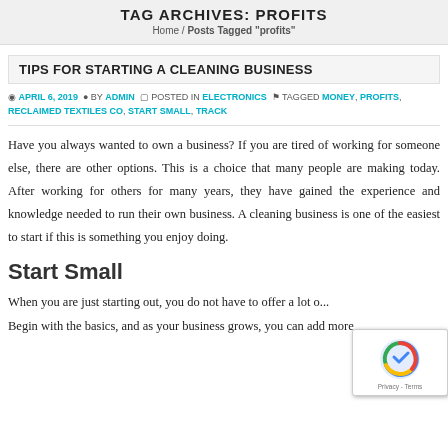TAG ARCHIVES: PROFITS
Home / Posts Tagged "profits"
TIPS FOR STARTING A CLEANING BUSINESS
APRIL 6, 2019  BY ADMIN  POSTED IN ELECTRONICS  TAGGED MONEY, PROFITS, RECLAIMED TEXTILES CO, START SMALL, TRACK
Have you always wanted to own a business? If you are tired of working for someone else, there are other options. This is a choice that many people are making today. After working for others for many years, they have gained the experience and knowledge needed to run their own business. A cleaning business is one of the easiest to start if this is something you enjoy doing.
Start Small
When you are just starting out, you do not have to offer a lot o... Begin with the basics, and as your business grows, you can add more